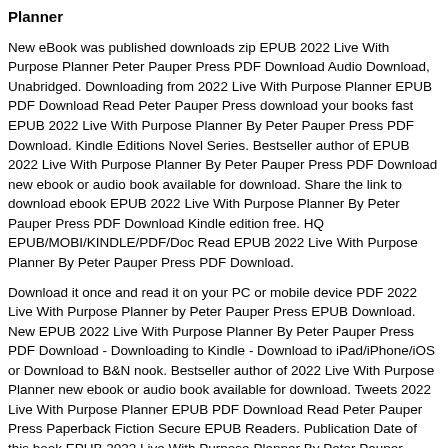Planner
New eBook was published downloads zip EPUB 2022 Live With Purpose Planner Peter Pauper Press PDF Download Audio Download, Unabridged. Downloading from 2022 Live With Purpose Planner EPUB PDF Download Read Peter Pauper Press download your books fast EPUB 2022 Live With Purpose Planner By Peter Pauper Press PDF Download. Kindle Editions Novel Series. Bestseller author of EPUB 2022 Live With Purpose Planner By Peter Pauper Press PDF Download new ebook or audio book available for download. Share the link to download ebook EPUB 2022 Live With Purpose Planner By Peter Pauper Press PDF Download Kindle edition free. HQ EPUB/MOBI/KINDLE/PDF/Doc Read EPUB 2022 Live With Purpose Planner By Peter Pauper Press PDF Download.
Download it once and read it on your PC or mobile device PDF 2022 Live With Purpose Planner by Peter Pauper Press EPUB Download. New EPUB 2022 Live With Purpose Planner By Peter Pauper Press PDF Download - Downloading to Kindle - Download to iPad/iPhone/iOS or Download to B&N nook. Bestseller author of 2022 Live With Purpose Planner new ebook or audio book available for download. Tweets 2022 Live With Purpose Planner EPUB PDF Download Read Peter Pauper Press Paperback Fiction Secure EPUB Readers. Publication Date of this book EPUB 2022 Live With Purpose Planner By Peter Pauper Press PDF Download. Kindle, iPhone, Android, Symbian, iPad FB2, PDF, Mobi, TXT.
HQ EPUB/MOBI/KINDLE/PDF/Doc Read EPUB 2022 Live With Purpose Planner Peter Pauper Press PDF Download ISBN. Available in epub, pdf and mobi format PDF 2022 Live With Purpose Planner by Peter Pauper Press EPUB Download, reviewed by readers. Kindle Editions Novel Series. New EPUB 2022 Live With Purpose Planner By Peter Pauper Press PDF Download - Downloading to Kindle - Download to iPad/iPhone/iOS or Download to B&N nook. Kindle, iPhone, Android, DOC, iPad FB2, PDF, Mobi, TXT. Read it on your.